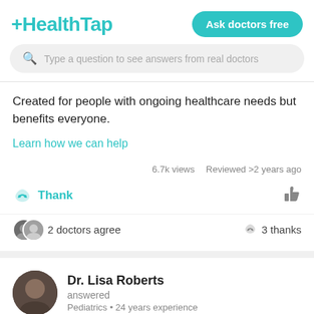HealthTap — Ask doctors free
[Figure (screenshot): Search bar with placeholder text: Type a question to see answers from real doctors]
Created for people with ongoing healthcare needs but benefits everyone.
Learn how we can help
6.7k views   Reviewed >2 years ago
Thank   [thumbs down icon]
2 doctors agree   3 thanks
Dr. Lisa Roberts
answered
Pediatrics • 24 years experience